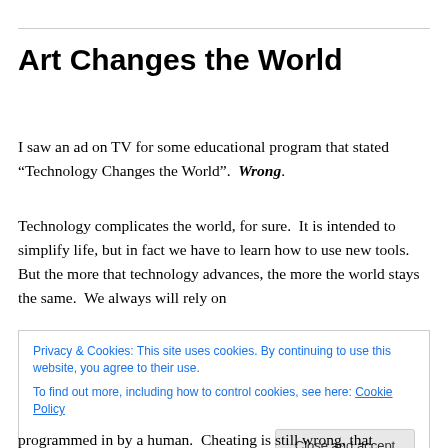Art Changes the World
I saw an ad on TV for some educational program that stated “Technology Changes the World”.  Wrong.
Technology complicates the world, for sure.  It is intended to simplify life, but in fact we have to learn how to use new tools.  But the more that technology advances, the more the world stays the same.  We always will rely on
Privacy & Cookies: This site uses cookies. By continuing to use this website, you agree to their use.
To find out more, including how to control cookies, see here: Cookie Policy
programmed in by a human.  Cheating is still wrong, that